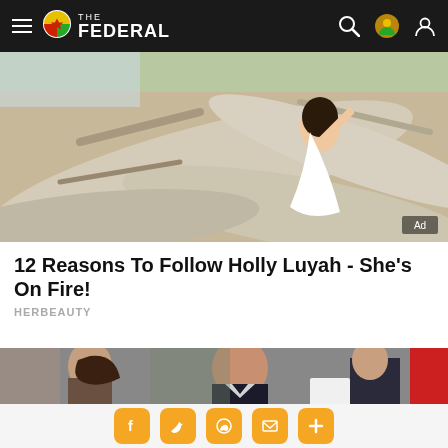THE FEDERAL
[Figure (photo): Woman in white swimsuit posing against weathered driftwood logs on a beach, advertisement image]
12 Reasons To Follow Holly Luyah - She's On Fire!
HERBEAUTY
[Figure (photo): Close-up of a bald man in a suit at what appears to be a red carpet event, with a woman and others visible in the background]